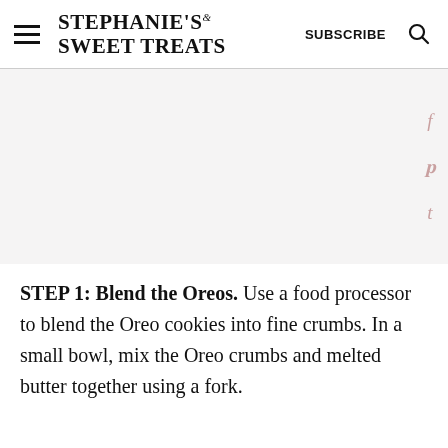STEPHANIE'S SWEET TREATS  SUBSCRIBE
[Figure (photo): Light gray rectangular image placeholder area for a food photo]
STEP 1: Blend the Oreos. Use a food processor to blend the Oreo cookies into fine crumbs. In a small bowl, mix the Oreo crumbs and melted butter together using a fork.